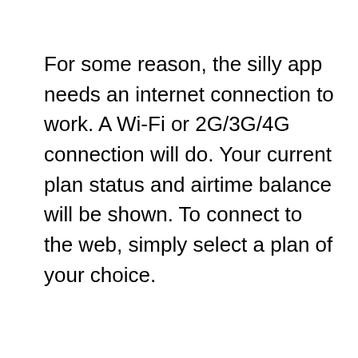For some reason, the silly app needs an internet connection to work. A Wi-Fi or 2G/3G/4G connection will do. Your current plan status and airtime balance will be shown. To connect to the web, simply select a plan of your choice.